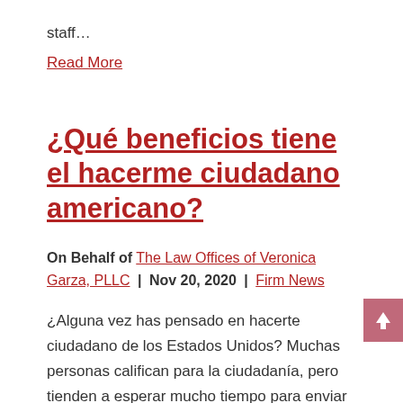staff…
Read More
¿Qué beneficios tiene el hacerme ciudadano americano?
On Behalf of The Law Offices of Veronica Garza, PLLC | Nov 20, 2020 | Firm News
¿Alguna vez has pensado en hacerte ciudadano de los Estados Unidos? Muchas personas califican para la ciudadanía, pero tienden a esperar mucho tiempo para enviar su solicitud, tal vez por desidia o porque tienen algunas dudas que no han resuelto. En